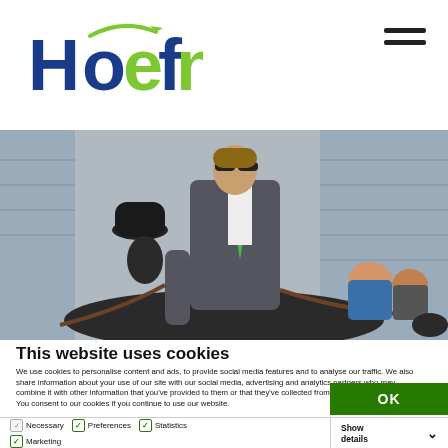[Figure (logo): Hoefnet logo with green horse head graphic and blue/green text]
[Figure (photo): Man in grey suit with green tie leading a horse-drawn carriage, woman in riding attire seated, stadium seating in background]
This website uses cookies
We use cookies to personalise content and ads, to provide social media features and to analyse our traffic. We also share information about your use of our site with our social media, advertising and analytics partners who may combine it with other information that you've provided to them or that they've collected from your use of their services. You consent to our cookies if you continue to use our website.
OK
Necessary  Preferences  Statistics  Marketing  Show details